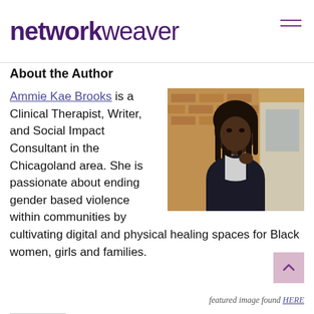networkweaver
About the Author
[Figure (photo): Portrait of Ammie Kae Brooks, a young Black woman with long braids, wearing a dark jacket, posed against a brick wall background.]
Ammie Kae Brooks is a Clinical Therapist, Writer, and Social Impact Consultant in the Chicagoland area. She is passionate about ending gender based violence within communities by cultivating digital and physical healing spaces for Black women, girls and families.
featured image found HERE